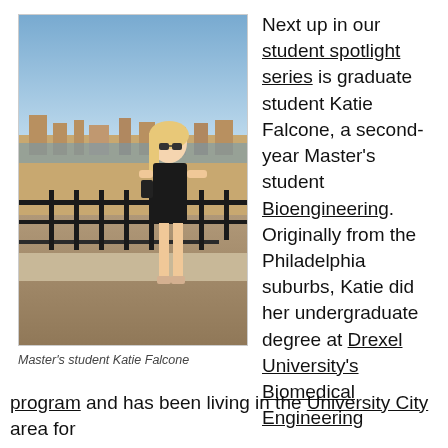[Figure (photo): Photo of Master's student Katie Falcone standing on a terrace/overlook with a European city and waterfront in the background, wearing a black dress and sunglasses.]
Master's student Katie Falcone
Next up in our student spotlight series is graduate student Katie Falcone, a second-year Master's student Bioengineering. Originally from the Philadelphia suburbs, Katie did her undergraduate degree at Drexel University's Biomedical Engineering program and has been living in the University City area for